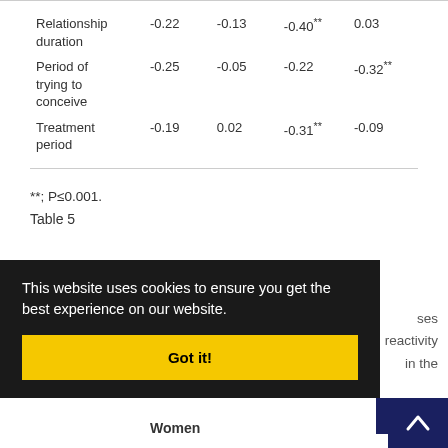|  |  |  |  |  |
| --- | --- | --- | --- | --- |
| Relationship duration | -0.22 | -0.13 | -0.40** | 0.03 |
| Period of trying to conceive | -0.25 | -0.05 | -0.22 | -0.32** |
| Treatment period | -0.19 | 0.02 | -0.31** | -0.09 |
**; P≤0.001.
Table 5
Results of stepwise multiple regression analyses ... reactivity ... in the
Women